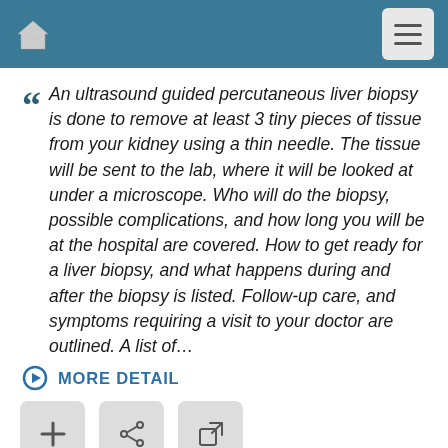Navigation bar with home icon and menu button
An ultrasound guided percutaneous liver biopsy is done to remove at least 3 tiny pieces of tissue from your kidney using a thin needle. The tissue will be sent to the lab, where it will be looked at under a microscope. Who will do the biopsy, possible complications, and how long you will be at the hospital are covered. How to get ready for a liver biopsy, and what happens during and after the biopsy is listed. Follow-up care, and symptoms requiring a visit to your doctor are outlined. A list of…
MORE DETAIL
[Figure (other): Three action button icons: plus/add, share, and external link]